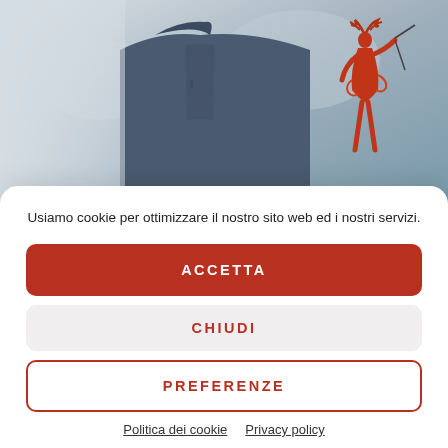[Figure (photo): Photo of a person holding a red coral/metal sculpture of a figure with antlers, blurred outdoor background]
Usiamo cookie per ottimizzare il nostro sito web ed i nostri servizi.
ACCETTA
CHIUDI
PREFERENZE
Politica dei cookie  Privacy policy